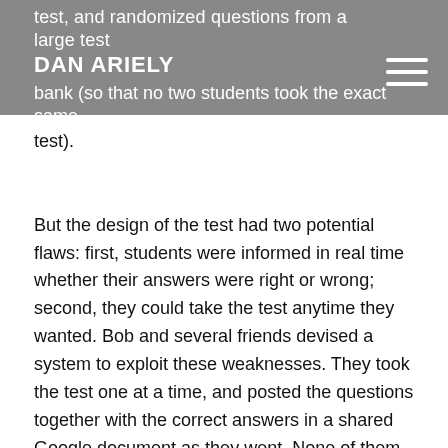DAN ARIELY
test, and randomized questions from a large test bank (so that no two students took the exact same test).
But the design of the test had two potential flaws: first, students were informed in real time whether their answers were right or wrong; second, they could take the test anytime they wanted. Bob and several friends devised a system to exploit these weaknesses. They took the test one at a time, and posted the questions together with the correct answers in a shared Google document as they went. None of them studied, so the first one or two